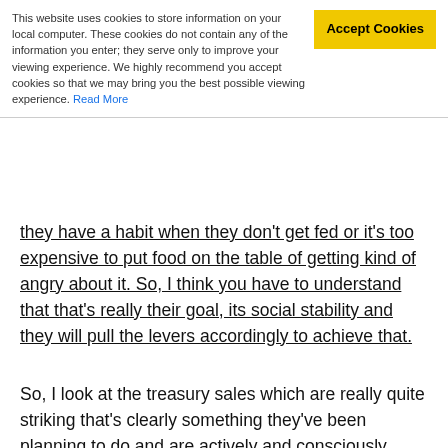This website uses cookies to store information on your local computer. These cookies do not contain any of the information you enter; they serve only to improve your viewing experience. We highly recommend you accept cookies so that we may bring you the best possible viewing experience. Read More
they have a habit when they don't get fed or it's too expensive to put food on the table of getting kind of angry about it. So, I think you have to understand that that's really their goal, its social stability and they will pull the levers accordingly to achieve that.
So, I look at the treasury sales which are really quite striking that's clearly something they've been planning to do and are actively and consciously divesting themselves of treasuries and I think a lot of that has to do with the gold market, it has to do with the currency market, it has to do with the oil markets potentially we'll talk about that in a minute but I think you watch that, you watch the currency and you watch these reserves.
The reserves thing is interesting because people talk about this three trillion dollars in reserves, it's actually chipping away but they forget on the other side of the ledger about the fact that China